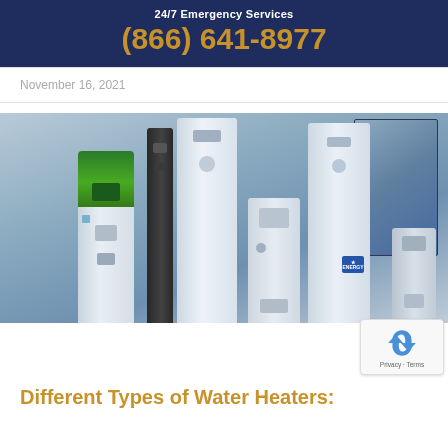24/7 Emergency Services
(866) 641-8977
November 16, 2021
[Figure (photo): Multiple types of water heaters displayed together including a green heat pump water heater, black slim unit, white tank water heaters, a tankless unit, and a solar panel collector against a blue-grey background.]
Different Types of Water Heaters: